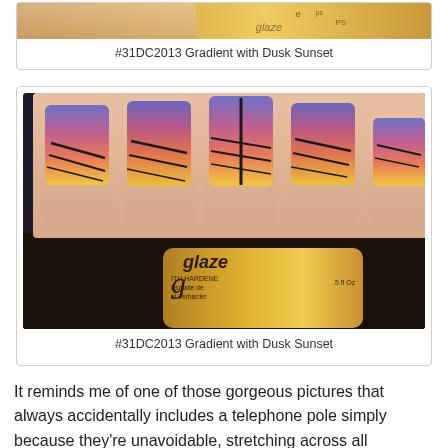[Figure (photo): Partial top view of nail art gradient photo with gold nail polish bottle, cropped at top of page]
#31DC2013 Gradient with Dusk Sunset
[Figure (photo): Close-up photo of hand with gradient sunset nail art (purple to pink to orange to yellow) with black stripe accents, holding a China Glaze gold nail polish bottle]
#31DC2013 Gradient with Dusk Sunset
It reminds me of one of those gorgeous pictures that always accidentally includes a telephone pole simply because they're unavoidable, stretching across all landscapes in all neighborhoods and settings.
I'm looking forward to seeing the rest of the ladies!